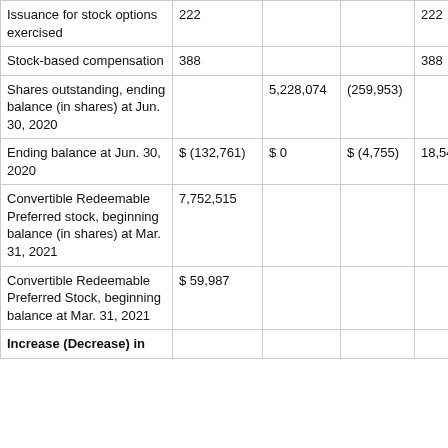| Issuance for stock options exercised | 222 |  |  | 222 |  |
| Stock-based compensation | 388 |  |  | 388 |  |
| Shares outstanding, ending balance (in shares) at Jun. 30, 2020 |  | 5,228,074 | (259,953) |  |  |
| Ending balance at Jun. 30, 2020 | $ (132,761) | $ 0 | $ (4,755) | 18,541 | (146,54… |
| Convertible Redeemable Preferred stock, beginning balance (in shares) at Mar. 31, 2021 | 7,752,515 |  |  |  |  |
| Convertible Redeemable Preferred Stock, beginning balance at Mar. 31, 2021 | $ 59,987 |  |  |  |  |
| Increase (Decrease) in |  |  |  |  |  |